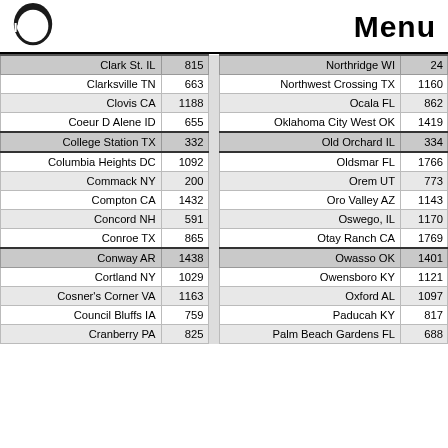ICV2 Menu
| City | # |  | City | # |
| --- | --- | --- | --- | --- |
| Clark St. IL | 815 |  | Northridge WI | 24 |
| Clarksville TN | 663 |  | Northwest Crossing TX | 1160 |
| Clovis CA | 1188 |  | Ocala FL | 862 |
| Coeur D Alene ID | 655 |  | Oklahoma City West OK | 1419 |
| College Station TX | 332 |  | Old Orchard IL | 334 |
| Columbia Heights DC | 1092 |  | Oldsmar FL | 1766 |
| Commack NY | 200 |  | Orem UT | 773 |
| Compton CA | 1432 |  | Oro Valley AZ | 1143 |
| Concord NH | 591 |  | Oswego, IL | 1170 |
| Conroe TX | 865 |  | Otay Ranch CA | 1769 |
| Conway AR | 1438 |  | Owasso OK | 1401 |
| Cortland NY | 1029 |  | Owensboro KY | 1121 |
| Cosner's Corner VA | 1163 |  | Oxford AL | 1097 |
| Council Bluffs IA | 759 |  | Paducah KY | 817 |
| Cranberry PA | 825 |  | Palm Beach Gardens FL | 688 |